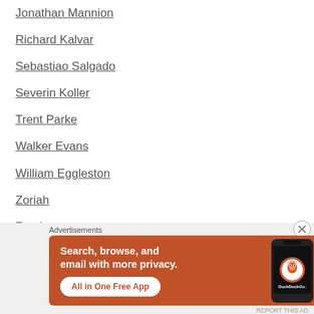Jonathan Mannion
Richard Kalvar
Sebastiao Salgado
Severin Koller
Trent Parke
Walker Evans
William Eggleston
Zoriah
Zun Lee
ARCHIVES
[Figure (screenshot): DuckDuckGo advertisement banner with orange background. Text reads: Search, browse, and email with more privacy. All in One Free App. Shows a phone with the DuckDuckGo logo.]